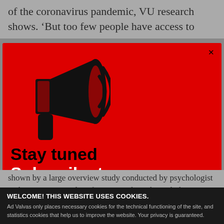of the coronavirus pandemic, VU research shows. ‘But too few people have access to
[Figure (infographic): Red modal popup with megaphone icon, 'Stay tuned' in black bold text, and 'Subscribe to our Updates' in large white bold text on a red background. An 'x' close button appears in the top right corner.]
shown by a large overview study conducted by psychologist Anke Witteveen and professors in Clinical Psychology Marit Sijbrandij and Pim Cuijpers, commissioned by the World Health Organisation. Young people are amongst the groups hit especially hard. They
WELCOME! THIS WEBSITE USES COOKIES.
Ad Valvas only places necessary cookies for the technical functioning of the site, and statistics cookies that help us to improve the website. Your privacy is guaranteed.